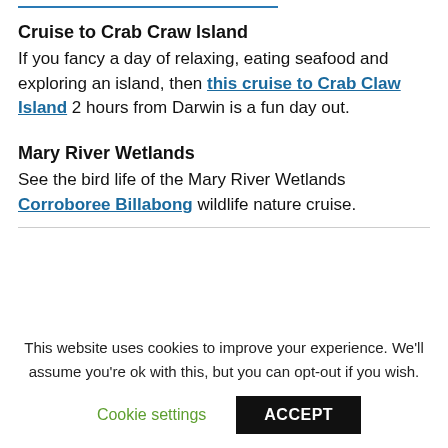Cruise to Crab Craw Island
If you fancy a day of relaxing, eating seafood and exploring an island, then this cruise to Crab Claw Island 2 hours from Darwin is a fun day out.
Mary River Wetlands
See the bird life of the Mary River Wetlands Corroboree Billabong wildlife nature cruise.
This website uses cookies to improve your experience. We'll assume you're ok with this, but you can opt-out if you wish.